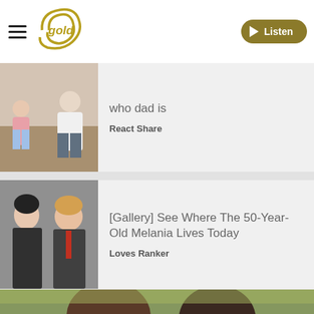gold — Listen
who dad is
React Share
[Gallery] See Where The 50-Year-Old Melania Lives Today
Loves Ranker
[Figure (photo): Photo of couple with children on floor]
[Figure (photo): Photo of Melania and Trump looking down]
[Figure (photo): Photo of two people with sunglasses outdoors with greenery background]